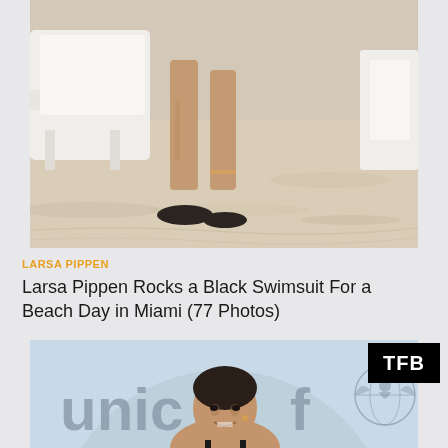[Figure (photo): Close-up photo of a person's legs standing on a sandy beach next to a white beach lounger, with black sandals on the ground]
LARSA PIPPEN
Larsa Pippen Rocks a Black Swimsuit For a Beach Day in Miami (77 Photos)
[Figure (photo): Woman smiling in front of a UNICEF backdrop logo, with a TFB watermark badge in the upper right corner]